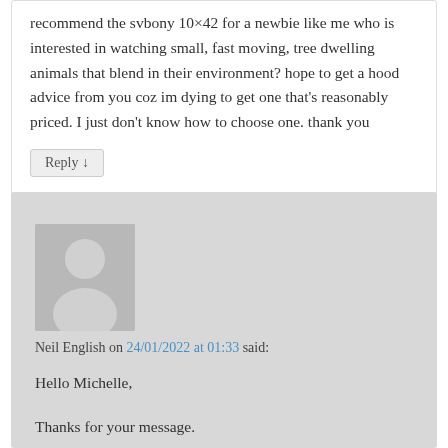recommend the svbony 10×42 for a newbie like me who is interested in watching small, fast moving, tree dwelling animals that blend in their environment? hope to get a hood advice from you coz im dying to get one that's reasonably priced. I just don't know how to choose one. thank you
Reply ↓
[Figure (illustration): Default avatar placeholder showing a grey silhouette of a person on a grey background]
Neil English on 24/01/2022 at 01:33 said:
Hello Michelle,
Thanks for your message.
I wouldn't say 8 x 32 is not good for birdwatching. Indeed, 8 x 32 is a great size for lots of people. It's